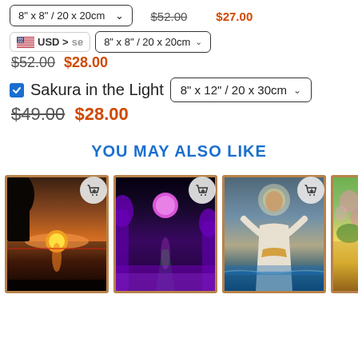8" x 8" / 20 x 20cm  $52.00 $27.00
USD > se  8" x 8" / 20 x 20cm
$52.00 $28.00
Sakura in the Light  8" x 12" / 20 x 30cm
$49.00 $28.00
YOU MAY ALSO LIKE
[Figure (photo): Three product cards showing diamond painting kits: sunset over water, purple moonlit forest path, and Jesus standing on water. Each card has a shopping cart button overlay and a gold/brown frame border.]
[Figure (photo): Partial fourth product card visible at right edge, showing a colorful landscape painting.]